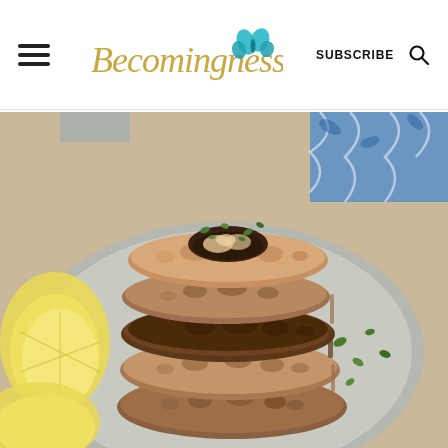Becomingness — SUBSCRIBE [search icon]
[Figure (photo): A stack of golden-brown salmon or tuna patties/cakes stacked on a gray plate, garnished with fresh herbs (cilantro/parsley), with lemon wedges on the side. Blue patterned cloth in background. Close-up food photography.]